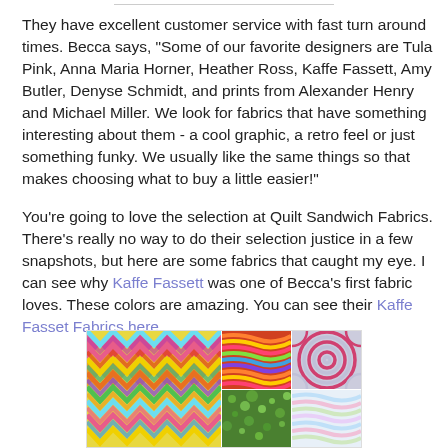They have excellent customer service with fast turn around times. Becca says, "Some of our favorite designers are Tula Pink, Anna Maria Horner, Heather Ross, Kaffe Fassett, Amy Butler, Denyse Schmidt, and prints from Alexander Henry and Michael Miller. We look for fabrics that have something interesting about them - a cool graphic, a retro feel or just something funky. We usually like the same things so that makes choosing what to buy a little easier!"
You're going to love the selection at Quilt Sandwich Fabrics. There's really no way to do their selection justice in a few snapshots, but here are some fabrics that caught my eye. I can see why Kaffe Fassett was one of Becca's first fabric loves. These colors are amazing. You can see their Kaffe Fasset Fabrics here.
[Figure (photo): A collage of colorful Kaffe Fassett fabrics showing zigzag chevron patterns in rainbow colors on the left, wavy multicolor stripe patterns top center, circular spiral patterns top right, green textured fabric bottom center, and pastel wavy stripes bottom right.]